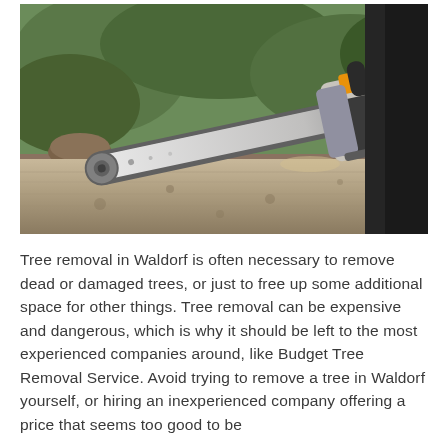[Figure (photo): Close-up photo of a person using a chainsaw to cut through a large log, with forest debris visible in the background.]
Tree removal in Waldorf is often necessary to remove dead or damaged trees, or just to free up some additional space for other things. Tree removal can be expensive and dangerous, which is why it should be left to the most experienced companies around, like Budget Tree Removal Service. Avoid trying to remove a tree in Waldorf yourself, or hiring an inexperienced company offering a price that seems too good to be